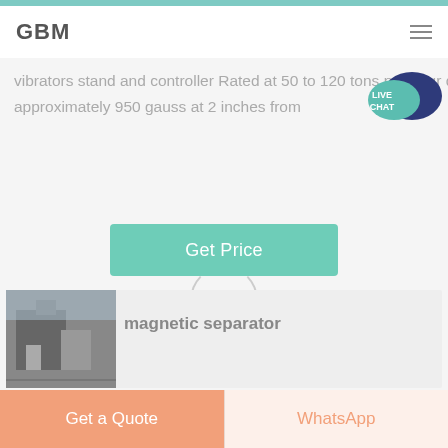GBM
vibrators stand and controller Rated at 50 to 120 tons per hour depending on material Unit is rated at approximately 950 gauss at 2 inches from
[Figure (illustration): Live Chat speech bubble icon in teal/dark blue]
Get Price
[Figure (photo): Industrial facility / plant building photo]
magnetic separator
Magnetic Separator MCA 80 80L/min MADE IN TAIWAN Brand New C 1 597 12 Buy It Now Free shipping from
Get a Quote
WhatsApp